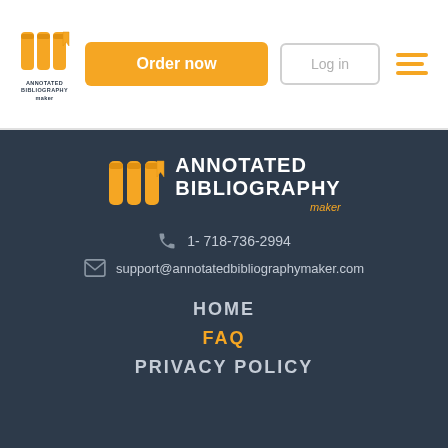[Figure (logo): Annotated Bibliography Maker logo - small header version with gold scroll icon and dark text]
Order now
Log in
[Figure (other): Hamburger menu icon with three gold horizontal lines]
[Figure (logo): Annotated Bibliography Maker logo - large footer version with gold scroll icon and white text]
1- 718-736-2994
support@annotatedbibliographymaker.com
HOME
FAQ
PRIVACY POLICY